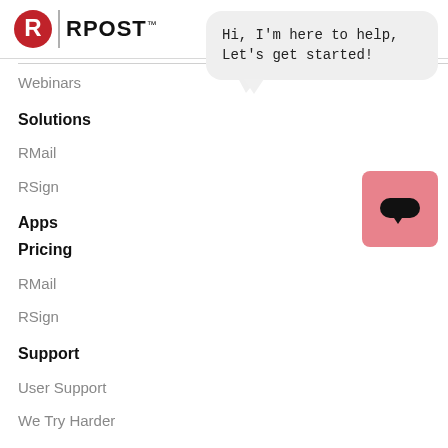RPOST
Webinars
Solutions
RMail
RSign
Apps
Pricing
RMail
RSign
Support
User Support
We Try Harder
Submit Your Review
[Figure (other): Chat assistant bubble saying 'Hi, I'm here to help, Let's get started!' with a pink chat button icon in the bottom right corner.]